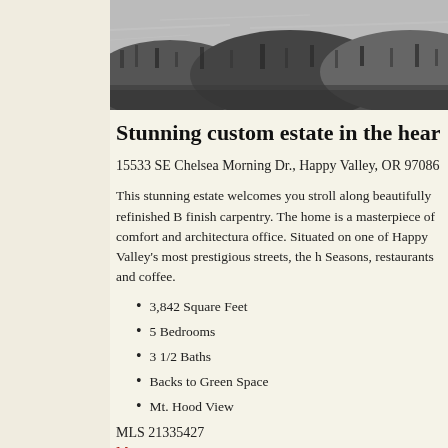[Figure (photo): Aerial or landscape photo of property/surroundings, black and white, showing terrain and trees]
Stunning custom estate in the heart of
15533 SE Chelsea Morning Dr., Happy Valley, OR 97086 - offered at $
This stunning estate welcomes you stroll along beautifully refinished B finish carpentry. The home is a masterpiece of comfort and architectura office. Situated on one of Happy Valley's most prestigious streets, the h Seasons, restaurants and coffee.
3,842 Square Feet
5 Bedrooms
3 1/2 Baths
Backs to Green Space
Mt. Hood View
MLS 21335427
Map